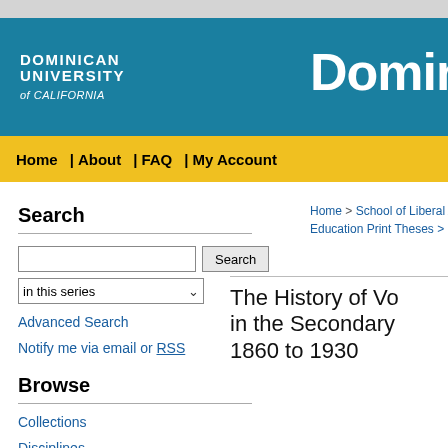DOMINICAN UNIVERSITY of CALIFORNIA | Dominica
Home | About | FAQ | My Account
Search
in this series
Advanced Search
Notify me via email or RSS
Browse
Collections
Disciplines
Home > School of Liberal Arts and Ed...
Education Print Theses > 61
The History of Vo... in the Secondary... 1860 to 1930